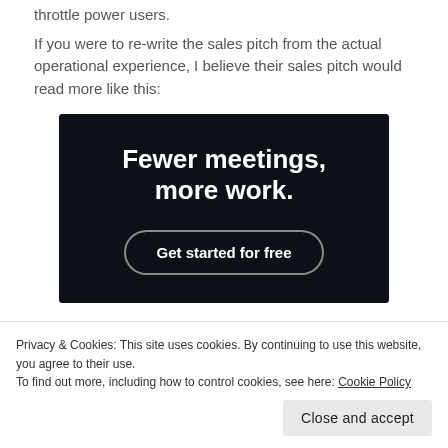throttle power users.
If you were to re-write the sales pitch from the actual operational experience, I believe their sales pitch would read more like this:
[Figure (infographic): Dark navy blue advertisement banner with bold white text reading 'Fewer meetings, more work.' and a rounded button labeled 'Get started for free']
Privacy & Cookies: This site uses cookies. By continuing to use this website, you agree to their use.
To find out more, including how to control cookies, see here: Cookie Policy
Close and accept